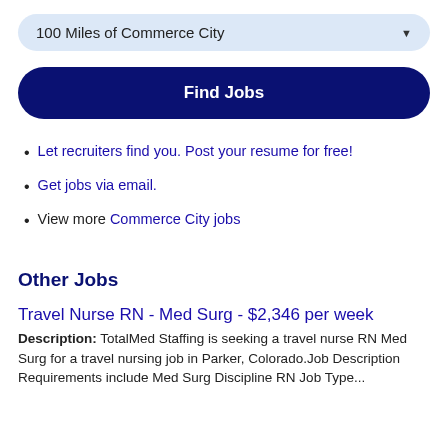100 Miles of Commerce City
Find Jobs
Let recruiters find you. Post your resume for free!
Get jobs via email.
View more Commerce City jobs
Other Jobs
Travel Nurse RN - Med Surg - $2,346 per week
Description: TotalMed Staffing is seeking a travel nurse RN Med Surg for a travel nursing job in Parker, Colorado.Job Description Requirements include Med Surg Discipline RN Job Type...